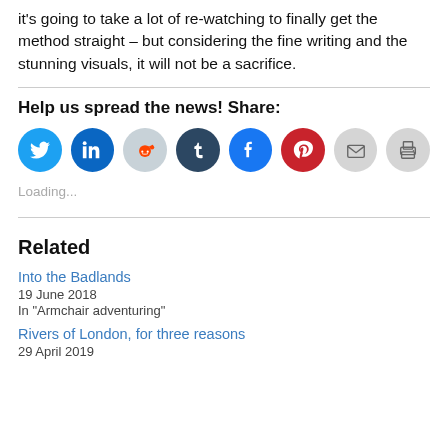it's going to take a lot of re-watching to finally get the method straight – but considering the fine writing and the stunning visuals, it will not be a sacrifice.
Help us spread the news! Share:
[Figure (infographic): Row of social media sharing icon buttons: Twitter (blue), LinkedIn (dark blue), Reddit (light blue/gray), Tumblr (dark navy), Facebook (blue), Pinterest (red), Email (light gray), Print (light gray)]
Loading...
Related
Into the Badlands
19 June 2018
In "Armchair adventuring"
Rivers of London, for three reasons
29 April 2019